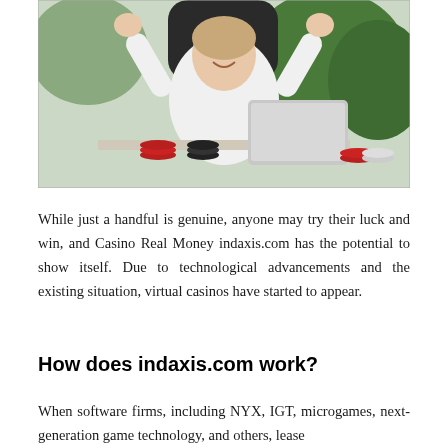[Figure (photo): Woman in white shirt sitting at a desk with a laptop and casino chips, raising her fists in celebration]
While just a handful is genuine, anyone may try their luck and win, and Casino Real Money indaxis.com has the potential to show itself. Due to technological advancements and the existing situation, virtual casinos have started to appear.
How does indaxis.com work?
When software firms, including NYX, IGT, microgames, next-generation game technology, and others, lease